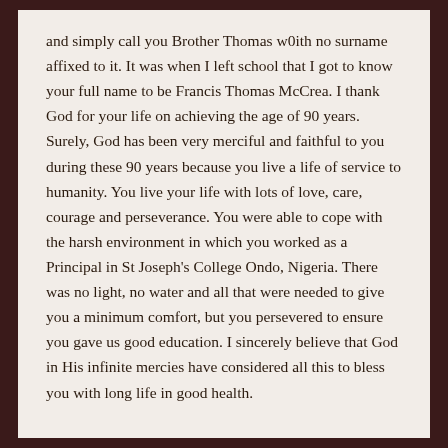and simply call you Brother Thomas w0ith no surname affixed to it. It was when I left school that I got to know your full name to be Francis Thomas McCrea. I thank God for your life on achieving the age of 90 years. Surely, God has been very merciful and faithful to you during these 90 years because you live a life of service to humanity. You live your life with lots of love, care, courage and perseverance. You were able to cope with the harsh environment in which you worked as a Principal in St Joseph's College Ondo, Nigeria. There was no light, no water and all that were needed to give you a minimum comfort, but you persevered to ensure you gave us good education. I sincerely believe that God in His infinite mercies have considered all this to bless you with long life in good health.